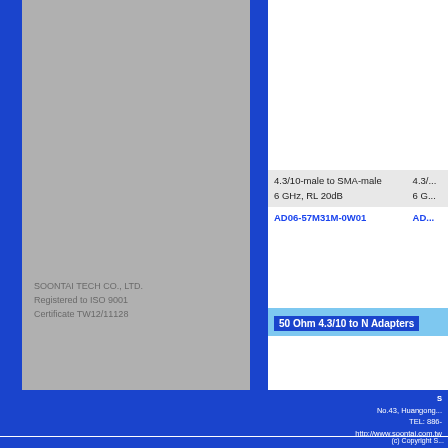[Figure (photo): Gray product image area with Soontai Tech company info overlay]
SOONTAI TECH CO., LTD.
Registered to ISO 9001
Certificate TW12/11128
| 4.3/10-male to SMA-male
6 GHz, RL 20dB | 4.3/... |
| AD06-57M31M-0W01 | AD... |
50 Ohm 4.3/10 to N Adapters
| 4.3/10-male to N-male
3 GHz, RL 20dB | 4.3/... |
| AD03-57M50M-1B01 | AD... |
S...
No.43, Huangong...
TEL: 886-...
http://www.soontai.com.tw
(c) Copyright S...